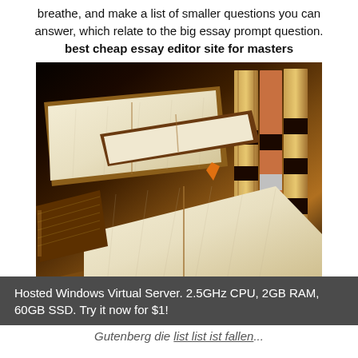breathe, and make a list of smaller questions you can answer, which relate to the big essay prompt question. best cheap essay editor site for masters
[Figure (photo): Stack of open books and encyclopedias piled together, with a row of leather-bound volumes standing upright in the background]
Hosted Windows Virtual Server. 2.5GHz CPU, 2GB RAM, 60GB SSD. Try it now for $1!
Gutenberg die list list ist fallen...